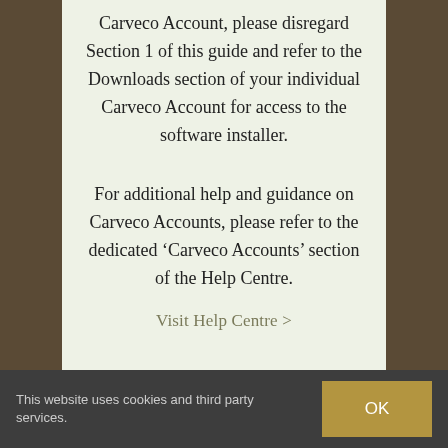Carveco Account, please disregard Section 1 of this guide and refer to the Downloads section of your individual Carveco Account for access to the software installer.
For additional help and guidance on Carveco Accounts, please refer to the dedicated ‘Carveco Accounts’ section of the Help Centre.
Visit Help Centre >
This website uses cookies and third party services.